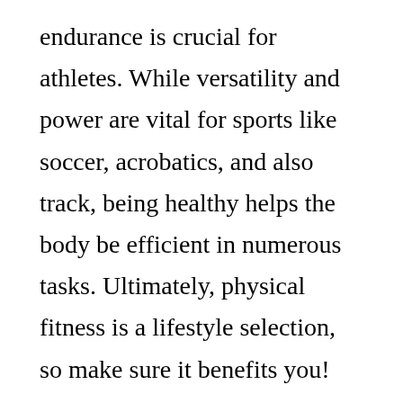endurance is crucial for athletes. While versatility and power are vital for sports like soccer, acrobatics, and also track, being healthy helps the body be efficient in numerous tasks. Ultimately, physical fitness is a lifestyle selection, so make sure it benefits you!
Whether you pick to complete in an extreme sport or just preserve your fitness degrees is up to you. As long as you take pleasure in the tasks, you can attain health and fitness by...